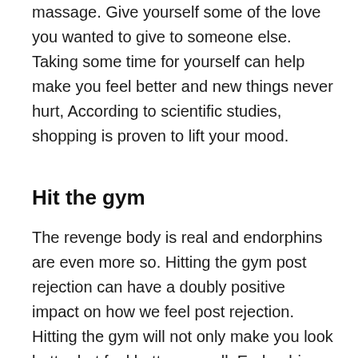massage. Give yourself some of the love you wanted to give to someone else. Taking some time for yourself can help make you feel better and new things never hurt, According to scientific studies, shopping is proven to lift your mood.
Hit the gym
The revenge body is real and endorphins are even more so. Hitting the gym post rejection can have a doubly positive impact on how we feel post rejection. Hitting the gym will not only make you look better but feel better as well. Endorphins can